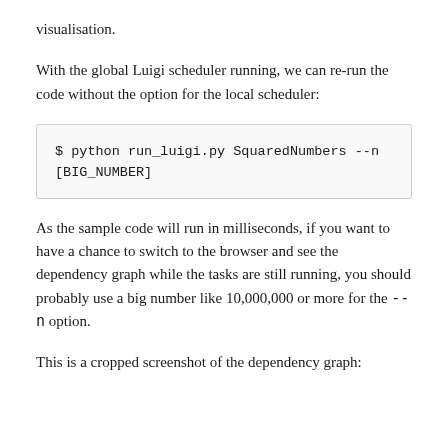visualisation.
With the global Luigi scheduler running, we can re-run the code without the option for the local scheduler:
$ python run_luigi.py SquaredNumbers --n [BIG_NUMBER]
As the sample code will run in milliseconds, if you want to have a chance to switch to the browser and see the dependency graph while the tasks are still running, you should probably use a big number like 10,000,000 or more for the --n option.
This is a cropped screenshot of the dependency graph: